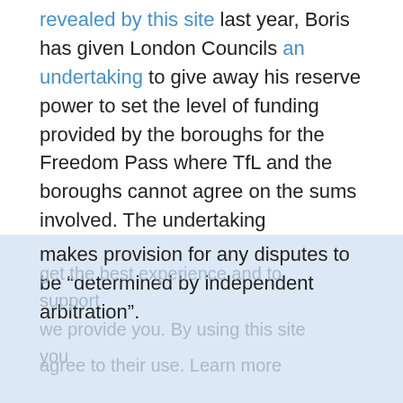revealed by this site last year, Boris has given London Councils an undertaking to give away his reserve power to set the level of funding provided by the boroughs for the Freedom Pass where TfL and the boroughs cannot agree on the sums involved. The undertaking makes provision for any disputes to be “determined by independent arbitration”.
It’s a policy City Hall hasn’t announced any reversal of so we must presume it’s still ‘live’.
As I argued at the time, the Tube PPP system offers a handy warning on the dangers of any independent arbiter deciding funding levels